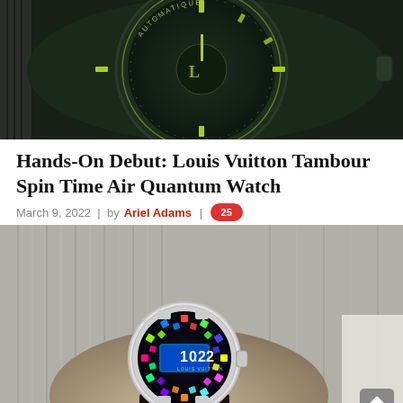[Figure (photo): Close-up photo of a dark navy/green Louis Vuitton Tambour watch face showing 'AUTOMATIQUE' text and LV logo letters as hour markers on a dark dial with lime green accents]
Hands-On Debut: Louis Vuitton Tambour Spin Time Air Quantum Watch
March 9, 2022 | by Ariel Adams | 25
[Figure (photo): Photo of a hand wearing the Louis Vuitton Tambour Spin Time Air Quantum watch showing its colorful digital-style dial with multicolored rotating cubes displaying the time, held against a grey knit sweater background]